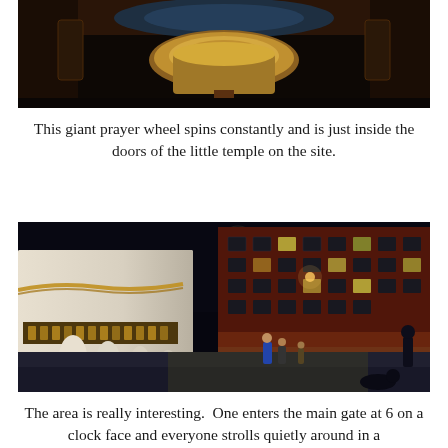[Figure (photo): Close-up photo of a large golden prayer wheel mounted inside a temple, viewed from below, showing ornate decorative ceiling and colorful murals surrounding it]
This giant prayer wheel spins constantly and is just inside the doors of the little temple on the site.
[Figure (photo): Night photograph of the Boudhanath stupa area in Kathmandu, Nepal. White stupa wall with prayer wheels and golden decorations visible on the left. Red brick multi-story buildings with illuminated windows on the right. People walking on the path, moon visible in the dark sky.]
The area is really interesting.  One enters the main gate at 6 on a clock face and everyone strolls quietly around in a